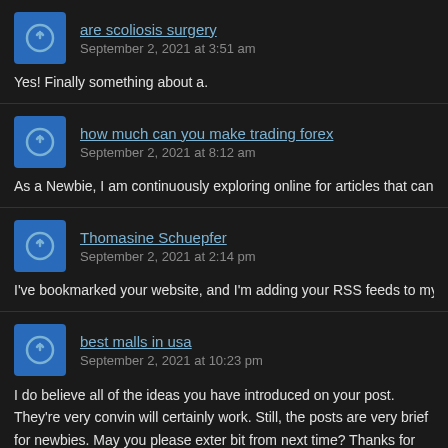are scoliosis surgery
September 2, 2021 at 3:51 am
Yes! Finally something about a.
how much can you make trading forex
September 2, 2021 at 8:12 am
As a Newbie, I am continuously exploring online for articles that can aid me. Than
Thomasine Schuepfer
September 2, 2021 at 2:14 pm
I've bookmarked your website, and I'm adding your RSS feeds to my Google acco
best malls in usa
September 2, 2021 at 10:23 pm
I do believe all of the ideas you have introduced on your post. They're very convin will certainly work. Still, the posts are very brief for newbies. May you please exter bit from next time? Thanks for the post.